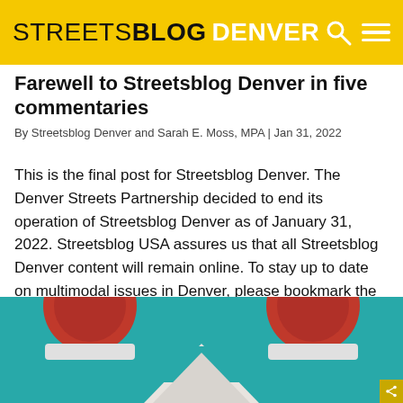STREETSBLOG DENVER
Farewell to Streetsblog Denver in five commentaries
By Streetsblog Denver and Sarah E. Moss, MPA | Jan 31, 2022
This is the final post for Streetsblog Denver. The Denver Streets Partnership decided to end its operation of Streetsblog Denver as of January 31, 2022. Streetsblog USA assures us that all Streetsblog Denver content will remain online. To stay up to date on multimodal issues in Denver, please bookmark the Denver Streets Partnership blog — [...]
[Figure (photo): Close-up photo of what appears to be traffic lights or circular objects on a teal/turquoise background, with a white conical or triangular shape in the lower center.]